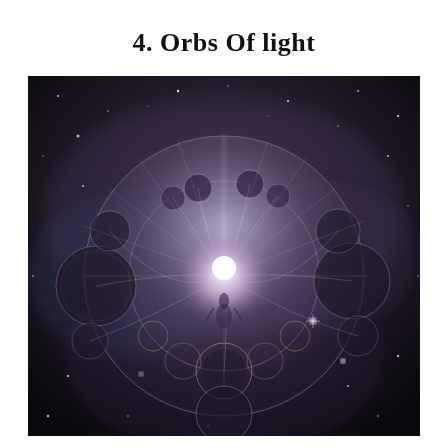4. Orbs Of light
[Figure (illustration): A cosmic digital illustration depicting a glowing humanoid figure at the center of a luminous orb surrounded by circular geometric patterns, smaller translucent spheres, and branching light tendrils, set against a deep space background filled with stars and nebulae.]